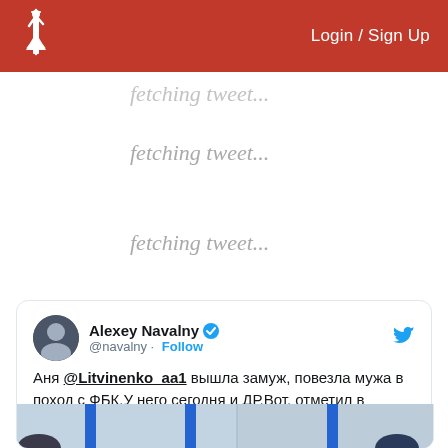Login / Sign Up
fetching tweet...
fetching tweet...
fetching tweet...
Alexey Navalny @navalny · Follow
Аня @Litvinenko_aa1 вышла замуж, повезла мужа в поход с ФБК.У него сегодня и ДР.Вот, отметил в кампании новых друзей
[Figure (photo): Bottom portion of a tweet card showing a photograph with blue vertical bars/stripes visible, partially cropped]